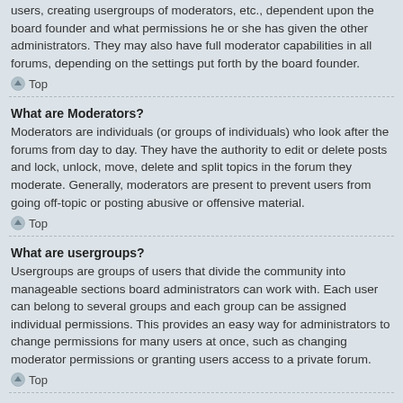users, creating usergroups of moderators, etc., dependent upon the board founder and what permissions he or she has given the other administrators. They may also have full moderator capabilities in all forums, depending on the settings put forth by the board founder.
Top
What are Moderators?
Moderators are individuals (or groups of individuals) who look after the forums from day to day. They have the authority to edit or delete posts and lock, unlock, move, delete and split topics in the forum they moderate. Generally, moderators are present to prevent users from going off-topic or posting abusive or offensive material.
Top
What are usergroups?
Usergroups are groups of users that divide the community into manageable sections board administrators can work with. Each user can belong to several groups and each group can be assigned individual permissions. This provides an easy way for administrators to change permissions for many users at once, such as changing moderator permissions or granting users access to a private forum.
Top